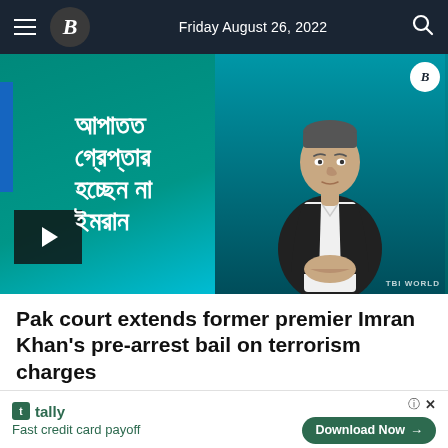Friday August 26, 2022
[Figure (photo): Video thumbnail showing Bengali text and a photo of former Pakistani PM Imran Khan, with a play button overlay. Bengali text reads: আপাতত গ্রেপ্তার হচ্ছেন না ইমরান. TBI World watermark visible.]
Pak court extends former premier Imran Khan's pre-arrest bail on terrorism charges
20h | Videos